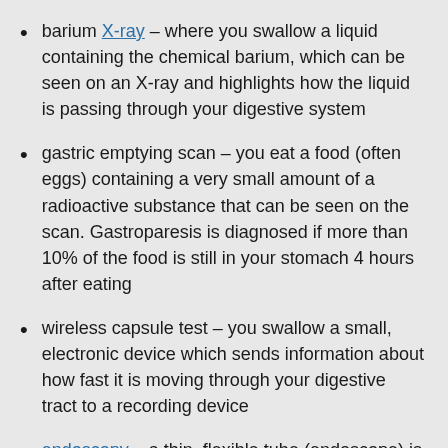barium X-ray – where you swallow a liquid containing the chemical barium, which can be seen on an X-ray and highlights how the liquid is passing through your digestive system
gastric emptying scan – you eat a food (often eggs) containing a very small amount of a radioactive substance that can be seen on the scan. Gastroparesis is diagnosed if more than 10% of the food is still in your stomach 4 hours after eating
wireless capsule test – you swallow a small, electronic device which sends information about how fast it is moving through your digestive tract to a recording device
endoscopy – a thin, flexible tube (endoscope) is passed down your throat and into your stomach to examine the stomach lining and rule out other possible causes